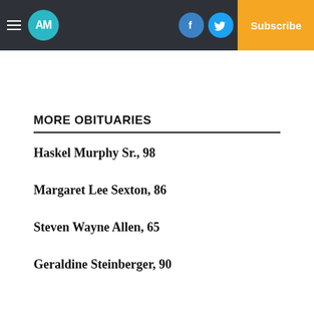AM | Log In | Subscribe
MORE OBITUARIES
Haskel Murphy Sr., 98
Margaret Lee Sexton, 86
Steven Wayne Allen, 65
Geraldine Steinberger, 90